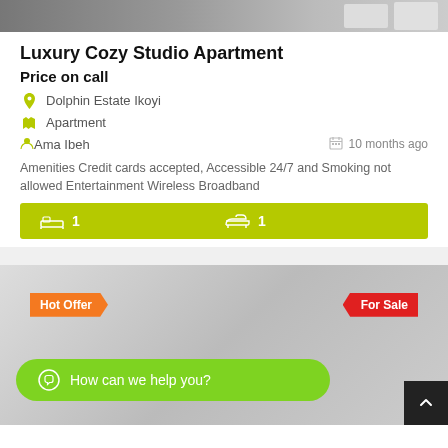[Figure (photo): Top portion of a room/apartment photo showing furniture and furniture items, partially cropped]
Luxury Cozy Studio Apartment
Price on call
Dolphin Estate Ikoyi
Apartment
Ama Ibeh   10 months ago
Amenities Credit cards accepted, Accessible 24/7 and Smoking not allowed Entertainment Wireless Broadband
[Figure (infographic): Green features bar showing bed icon with 1 and bath icon with 1]
[Figure (photo): Second property listing preview with Hot Offer and For Sale badges, gray placeholder image]
How can we help you?